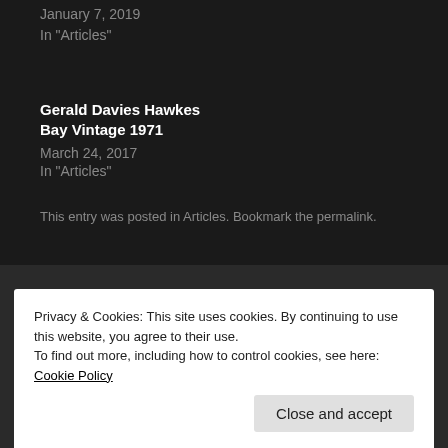January 7, 2019
In "Articles"
Gerald Davies Hawkes Bay Vintage 1971
March 24, 2017
In "Articles"
This entry was posted in Articles. Bookmark the permalink.
◄ Wales Euro Millions Provide Financial Legacy
Moth Of The Day Quotes From The Euro 2016 Final ►
Privacy & Cookies: This site uses cookies. By continuing to use this website, you agree to their use.
To find out more, including how to control cookies, see here: Cookie Policy
Close and accept